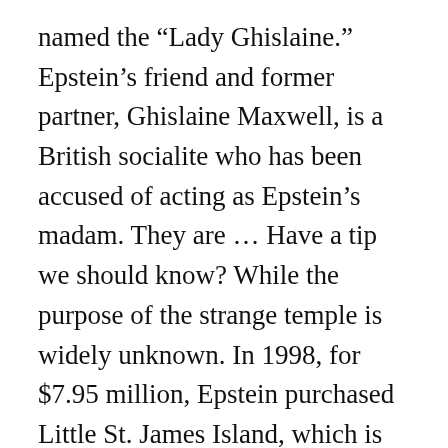named the “Lady Ghislaine.” Epstein’s friend and former partner, Ghislaine Maxwell, is a British socialite who has been accused of acting as Epstein’s madam. They are … Have a tip we should know? While the purpose of the strange temple is widely unknown. In 1998, for $7.95 million, Epstein purchased Little St. James Island, which is situated between the larger St. Thomas and St. John Islands. Mr. To find Little St. James on the large map, you have to look to the Caribbean Sea. If you were a billionaire, why have a temple with faux stonework and pretend three-dimensional paint you could only appreciate from afar? Interestingly, the temple appears to have been built between 2009 and 2013, which was after Epstein got a